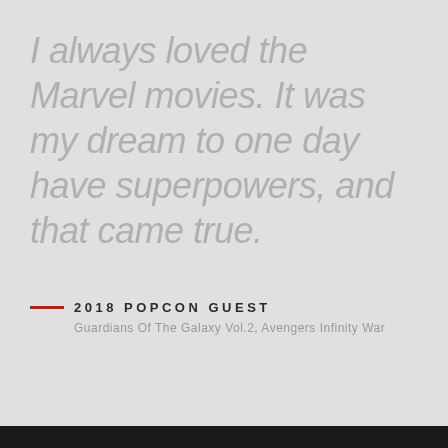I always loved the Marvel movies. It was my dream to one day have superpowers, and that came true.
2018 POPCON GUEST
Guardians Of The Galaxy Vol.2, Avengers Infinity War